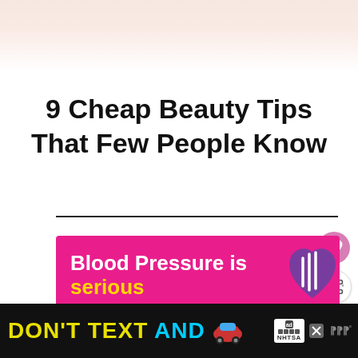[Figure (photo): Cropped top portion of a beauty/skin photo, showing skin tones at the top of page]
9 Cheap Beauty Tips That Few People Know
[Figure (infographic): Pink advertisement banner reading 'Blood Pressure is serious' with decorative heart graphic]
[Figure (infographic): What's Next panel with thumbnail of nails and text 'Tips on How To Grow...']
[Figure (infographic): Bottom black bar ad: 'DON'T TEXT AND' with car emoji, ad badge and NHTSA logo]